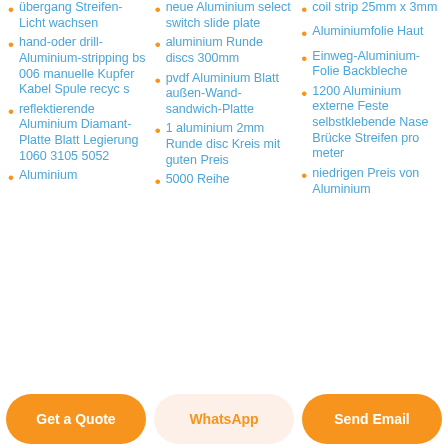übergang Streifen-Licht wachsen
hand-oder drill-Aluminium-stripping bs 006 manuelle Kupfer Kabel Spule recyc s
reflektierende Aluminium Diamant-Platte Blatt Legierung 1060 3105 5052
Aluminium
neue Aluminium select switch slide plate
aluminium Runde discs 300mm
pvdf Aluminium Blatt außen-Wand-sandwich-Platte
1 aluminium 2mm Runde disc Kreis mit guten Preis
5000 Reihe
coil strip 25mm x 3mm
Aluminiumfolie Haut
Einweg-Aluminium-Folie Backbleche
1200 Aluminium externe Feste selbstklebende Nase Brücke Streifen pro meter
niedrigen Preis von Aluminium